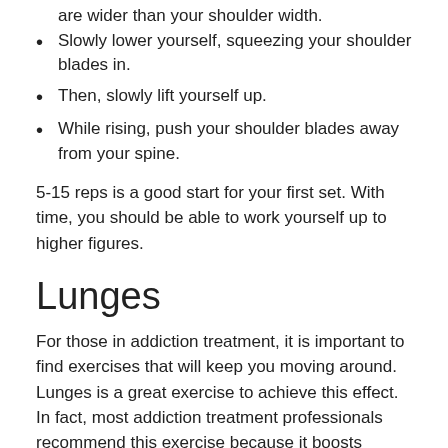are wider than your shoulder width.
Slowly lower yourself, squeezing your shoulder blades in.
Then, slowly lift yourself up.
While rising, push your shoulder blades away from your spine.
5-15 reps is a good start for your first set. With time, you should be able to work yourself up to higher figures.
Lunges
For those in addiction treatment, it is important to find exercises that will keep you moving around. Lunges is a great exercise to achieve this effect. In fact, most addiction treatment professionals recommend this exercise because it boosts balance and mobility.
Keeping your core engaged, take a huge step forward